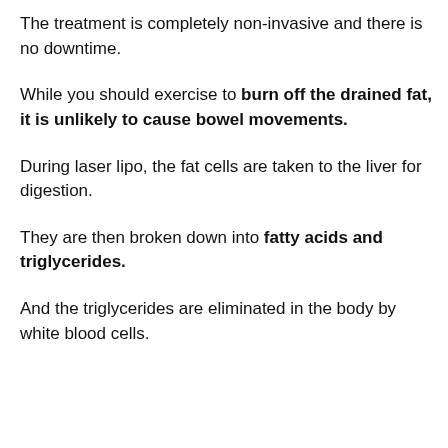The treatment is completely non-invasive and there is no downtime.
While you should exercise to burn off the drained fat, it is unlikely to cause bowel movements.
During laser lipo, the fat cells are taken to the liver for digestion.
They are then broken down into fatty acids and triglycerides.
And the triglycerides are eliminated in the body by white blood cells.